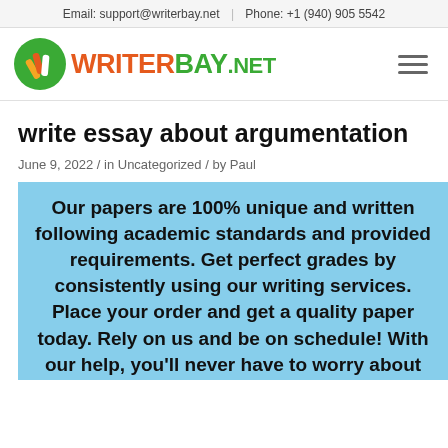Email: support@writerbay.net  |  Phone: +1 (940) 905 5542
[Figure (logo): WriterBay.net logo with green circle icon containing pencil/pen illustrations, orange WRITER text, green BAY.NET text]
write essay about argumentation
June 9, 2022 / in Uncategorized / by Paul
Our papers are 100% unique and written following academic standards and provided requirements. Get perfect grades by consistently using our writing services. Place your order and get a quality paper today. Rely on us and be on schedule! With our help, you'll never have to worry about deadlines again. Take advantage of our current 20% discount by using the